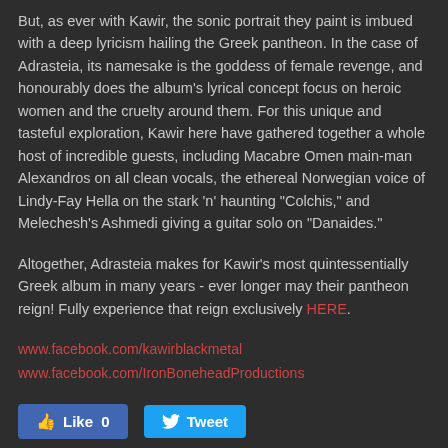But, as ever with Kawir, the sonic portrait they paint is imbued with a deep lyricism hailing the Greek pantheon. In the case of Adrasteia, its namesake is the goddess of female revenge, and honourably does the album's lyrical concept focus on heroic women and the cruelty around them. For this unique and tasteful exploration, Kawir here have gathered together a whole host of incredible guests, including Macabre Omen main-man Alexandros on all clean vocals, the ethereal Norwegian voice of Lindy-Fay Hella on the stark 'n' haunting "Colchis," and Melechesh's Ashmedi giving a guitar solo on "Danaides."
Altogether, Adrasteia makes for Kawir's most quintessentially Greek album in many years - ever longer may their pantheon reign! Fully experience that reign exclusively HERE.
www.facebook.com/kawirblackmetal
www.facebook.com/IronBoneheadProductions
Like 0   Tweet
0 Comments